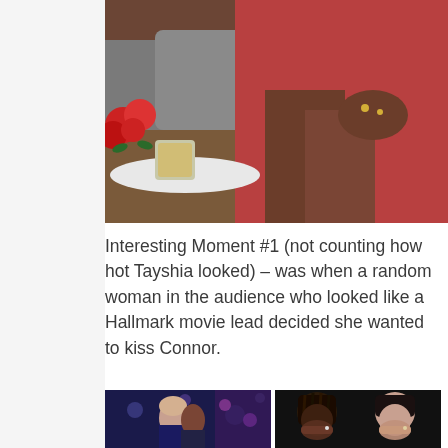[Figure (photo): A woman in a red dress sitting on a gray couch with legs crossed, hands folded in lap with rings visible. Red roses and a candle in a glass jar on a small table beside her. Studio interview setting.]
Interesting Moment #1 (not counting how hot Tayshia looked) – was when a random woman in the audience who looked like a Hallmark movie lead decided she wanted to kiss Connor.
[Figure (photo): Two side-by-side photos: left shows a man and woman kissing at what appears to be a TV show event with a purple/blue lit backdrop; right shows two women, one with braids covering her mouth with her hand in apparent surprise, the other also covering her mouth.]